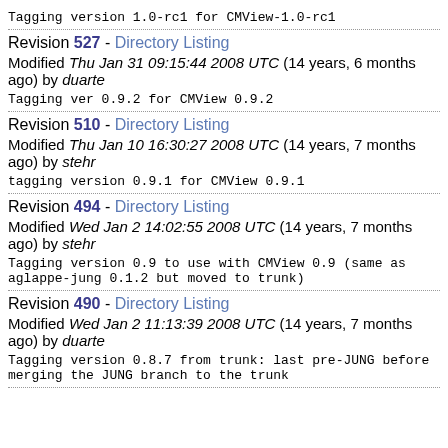Tagging version 1.0-rc1 for CMView-1.0-rc1
Revision 527 - Directory Listing
Modified Thu Jan 31 09:15:44 2008 UTC (14 years, 6 months ago) by duarte
Tagging ver 0.9.2 for CMView 0.9.2
Revision 510 - Directory Listing
Modified Thu Jan 10 16:30:27 2008 UTC (14 years, 7 months ago) by stehr
tagging version 0.9.1 for CMView 0.9.1
Revision 494 - Directory Listing
Modified Wed Jan 2 14:02:55 2008 UTC (14 years, 7 months ago) by stehr
Tagging version 0.9 to use with CMView 0.9 (same as aglappe-jung 0.1.2 but moved to trunk)
Revision 490 - Directory Listing
Modified Wed Jan 2 11:13:39 2008 UTC (14 years, 7 months ago) by duarte
Tagging version 0.8.7 from trunk: last pre-JUNG before merging the JUNG branch to the trunk